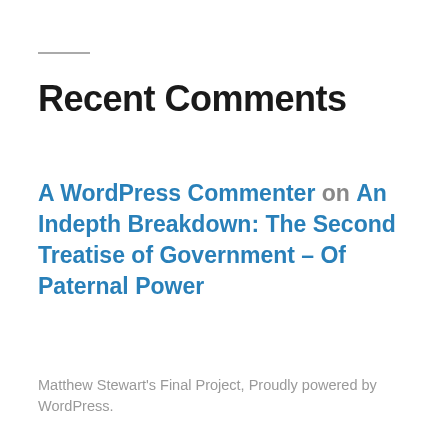Recent Comments
A WordPress Commenter on An Indepth Breakdown: The Second Treatise of Government – Of Paternal Power
Matthew Stewart's Final Project, Proudly powered by WordPress.